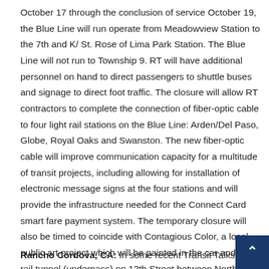October 17 through the conclusion of service October 19, the Blue Line will run operate from Meadowview Station to the 7th and K/ St. Rose of Lima Park Station. The Blue Line will not run to Township 9. RT will have additional personnel on hand to direct passengers to shuttle buses and signage to direct foot traffic. The closure will allow RT contractors to complete the connection of fiber-optic cable to four light rail stations on the Blue Line: Arden/Del Paso, Globe, Royal Oaks and Swanston. The new fiber-optic cable will improve communication capacity for a multitude of transit projects, including allowing for installation of electronic message signs at the four stations and will provide the infrastructure needed for the Connect Card smart fare payment system. The temporary closure will also be timed to coincide with Contagious Color, a local public art project which will be painted in the car and light rail tunnel (underpass) on 12th Street between North B and C Streets.
Rancho Cordova, CA: In some recent Transit Talks, you have